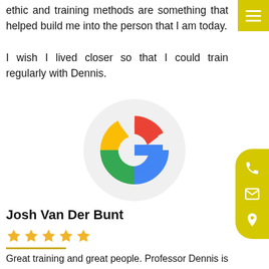…ethic and training methods are something that helped build me into the person that I am today. I wish I lived closer so that I could train regularly with Dennis.
[Figure (logo): Google logo (colorful G) centered inside a light gray circle]
Josh Van Der Bunt
★★★★★ (5 stars)
Great training and great people. Professor Dennis is an awesome teacher and has been very patient with…